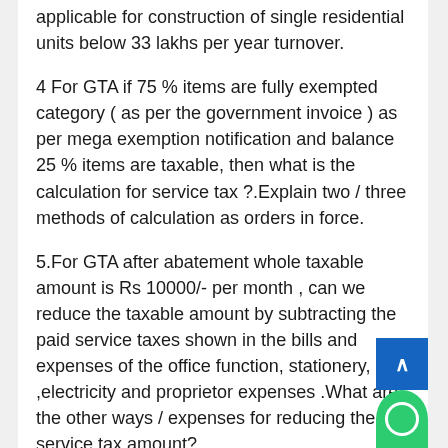applicable for construction of single residential units below 33 lakhs per year turnover.
4 For GTA if 75 % items are fully exempted category ( as per the government invoice ) as per mega exemption notification and balance 25 % items are taxable, then what is the calculation for service tax ?.Explain two / three methods of calculation as orders in force.
5.For GTA after abatement whole taxable amount is Rs 10000/- per month , can we reduce the taxable amount by subtracting the paid service taxes shown in the bills and expenses of the office function, stationery, rent ,electricity and proprietor expenses .What are the other ways / expenses for reducing the service tax amount?.
6. For GTA proprietor firms what is the turnover